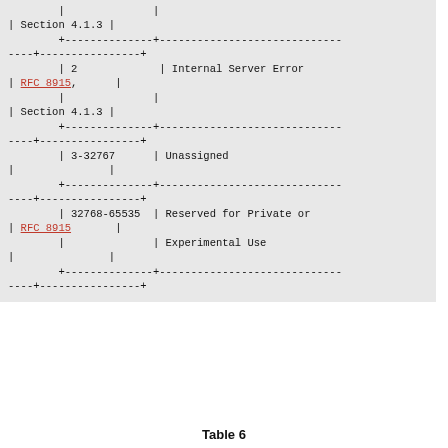| Value | Description |
| --- | --- |
| 2 | Internal Server Error | RFC 8915, Section 4.1.3 |
| 3-32767 | Unassigned |
| 32768-65535 | Reserved for Private or RFC 8915 Experimental Use |
Table 6